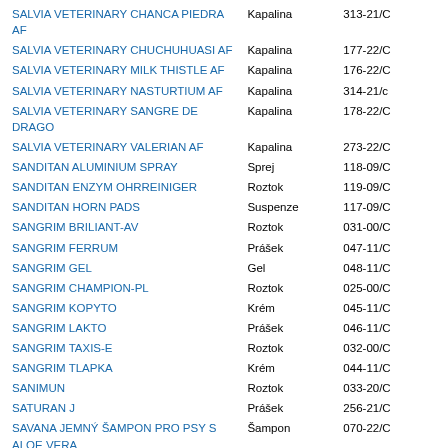| Name | Form | Code |
| --- | --- | --- |
| SALVIA VETERINARY CHANCA PIEDRA AF | Kapalina | 313-21/C |
| SALVIA VETERINARY CHUCHUHUASI AF | Kapalina | 177-22/C |
| SALVIA VETERINARY MILK THISTLE AF | Kapalina | 176-22/C |
| SALVIA VETERINARY NASTURTIUM AF | Kapalina | 314-21/c |
| SALVIA VETERINARY SANGRE DE DRAGO | Kapalina | 178-22/C |
| SALVIA VETERINARY VALERIAN AF | Kapalina | 273-22/C |
| SANDITAN ALUMINIUM SPRAY | Sprej | 118-09/C |
| SANDITAN ENZYM OHRREINIGER | Roztok | 119-09/C |
| SANDITAN HORN PADS | Suspenze | 117-09/C |
| SANGRIM BRILIANT-AV | Roztok | 031-00/C |
| SANGRIM FERRUM | Prášek | 047-11/C |
| SANGRIM GEL | Gel | 048-11/C |
| SANGRIM CHAMPION-PL | Roztok | 025-00/C |
| SANGRIM KOPYTO | Krém | 045-11/C |
| SANGRIM LAKTO | Prášek | 046-11/C |
| SANGRIM TAXIS-E | Roztok | 032-00/C |
| SANGRIM TLAPKA | Krém | 044-11/C |
| SANIMUN | Roztok | 033-20/C |
| SATURAN J | Prášek | 256-21/C |
| SAVANA JEMNÝ ŠAMPON PRO PSY S ALOE VERA | Šampon | 070-22/C |
| SEBODERM | Šampon | 072-17/C |
| SEBOLYTIC | Šampon | 095-06/C |
| SENILIFE PLUS | Tobolky | 113-22/C |